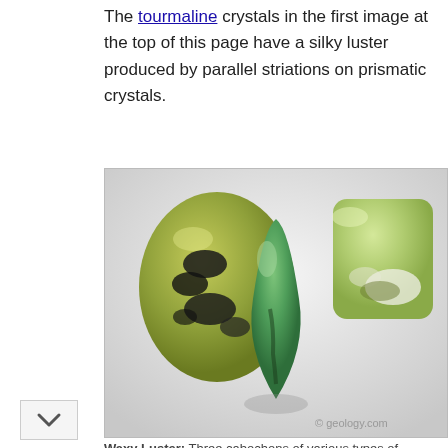The tourmaline crystals in the first image at the top of this page have a silky luster produced by parallel striations on prismatic crystals.
[Figure (photo): Three green cabochons of various types of jade or serpentine stones on a white background. Left: oval-shaped yellow-green stone with black spots. Center: teardrop/cone-shaped medium green stone. Right: rectangular cushion-shaped pale green stone with some white patches. Watermark: © geology.com]
Waxy Luster: Three cabochons of various types of